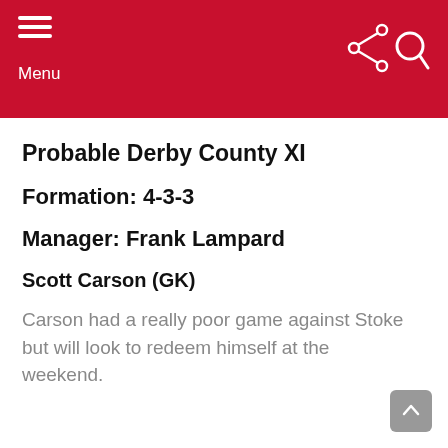Menu
Probable Derby County XI
Formation: 4-3-3
Manager: Frank Lampard
Scott Carson (GK)
Carson had a really poor game against Stoke but will look to redeem himself at the weekend.